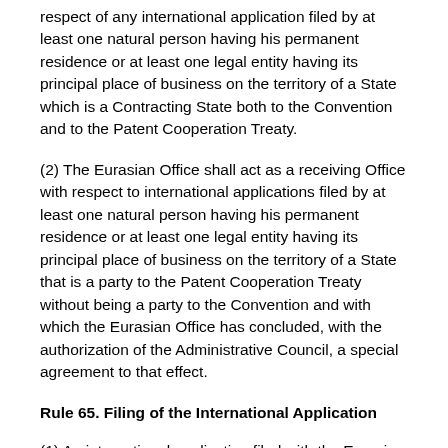respect of any international application filed by at least one natural person having his permanent residence or at least one legal entity having its principal place of business on the territory of a State which is a Contracting State both to the Convention and to the Patent Cooperation Treaty.
(2) The Eurasian Office shall act as a receiving Office with respect to international applications filed by at least one natural person having his permanent residence or at least one legal entity having its principal place of business on the territory of a State that is a party to the Patent Cooperation Treaty without being a party to the Convention and with which the Eurasian Office has concluded, with the authorization of the Administrative Council, a special agreement to that effect.
Rule 65. Filing of the International Application
(1) An international application filed with the Eurasian Office as receiving Office, including an international application filed in accordance with paragraph (2) of this Rule, shall be filed in Russian or English and shall be subject to payment of